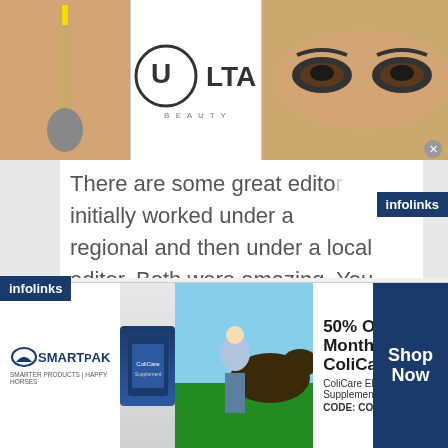[Figure (screenshot): Top banner advertisement for Ulta Beauty showing makeup images (lips, brush, eyes), Ulta Beauty logo, and Shop Now call to action]
There are some great editors. I initially worked under a regional and then under a local editor. Both were amazing. You are required to do 30 listing a week (only one full-day of work depending on how fast you write), but you can request more listings per week as you like. I heard there were some
[Figure (screenshot): Bottom banner advertisement for SmartPak featuring 50% Off Two Months of ColiCare promotion, ColiCare Eligible Supplements, CODE: COLICARE10, with Shop Now button]